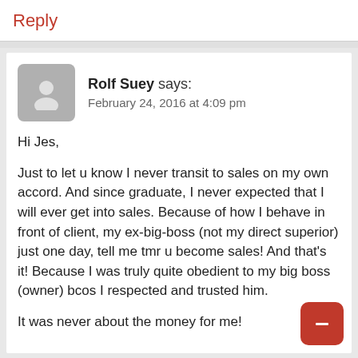Reply
Rolf Suey says:
February 24, 2016 at 4:09 pm
Hi Jes,

Just to let u know I never transit to sales on my own accord. And since graduate, I never expected that I will ever get into sales. Because of how I behave in front of client, my ex-big-boss (not my direct superior) just one day, tell me tmr u become sales! And that's it! Because I was truly quite obedient to my big boss (owner) bcos I respected and trusted him.

It was never about the money for me!